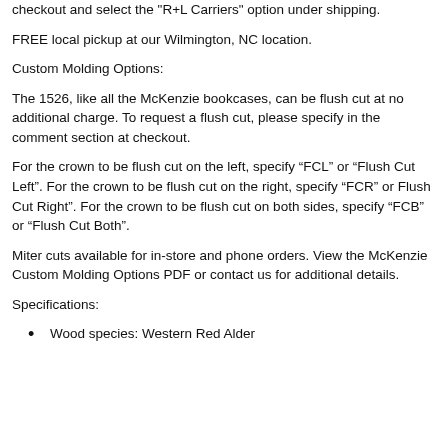checkout and select the "R+L Carriers" option under shipping.
FREE local pickup at our Wilmington, NC location.
Custom Molding Options:
The 1526, like all the McKenzie bookcases, can be flush cut at no additional charge. To request a flush cut, please specify in the comment section at checkout.
For the crown to be flush cut on the left, specify “FCL” or “Flush Cut Left”. For the crown to be flush cut on the right, specify “FCR” or Flush Cut Right”. For the crown to be flush cut on both sides, specify “FCB” or “Flush Cut Both”.
Miter cuts available for in-store and phone orders. View the McKenzie Custom Molding Options PDF or contact us for additional details.
Specifications:
Wood species: Western Red Alder